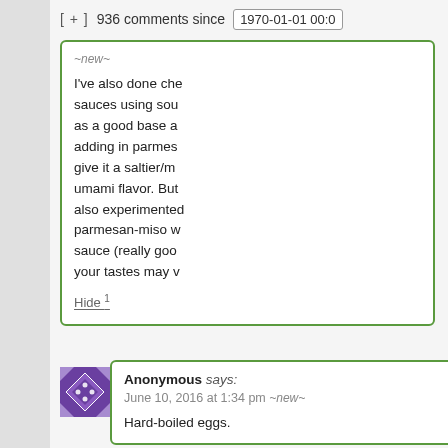[ + ]  936 comments since  1970-01-01 00:0(
~new~
I've also done che sauces using sou as a good base a adding in parmes give it a saltier/m umami flavor. But also experimented parmesan-miso w sauce (really goo your tastes may v
Hide 1
Anonymous says:
June 10, 2016 at 1:34 pm ~new~
Hard-boiled eggs.